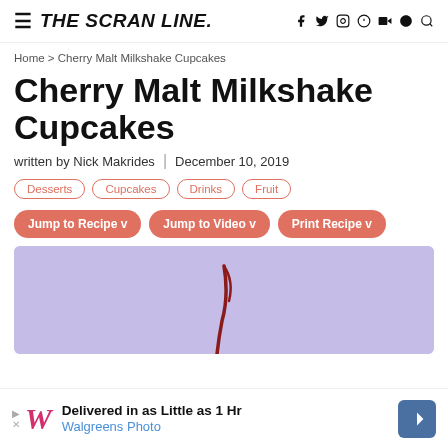THE SCRAN LINE.
Home > Cherry Malt Milkshake Cupcakes
Cherry Malt Milkshake Cupcakes
written by Nick Makrides | December 10, 2019
Desserts
Cupcakes
Drinks
Fruit
Jump to Recipe v
Jump to Video v
Print Recipe v
[Figure (photo): Hero image with lavender/purple background showing a cherry stem, partially cropped at bottom]
Delivered in as Little as 1 Hr Walgreens Photo